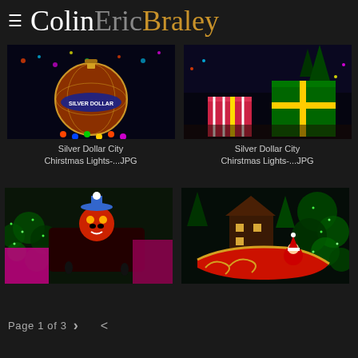ColinEricBraley
[Figure (photo): Christmas ornament with 'Silver Dollar' text illuminated at night with colorful lights]
[Figure (photo): Silver Dollar City Christmas lights display with gift boxes and colorful decorations at night]
Silver Dollar City Chirstmas Lights-...JPG
Silver Dollar City Chirstmas Lights-...JPG
[Figure (photo): Silver Dollar City Christmas parade float with colorful characters at night]
[Figure (photo): Silver Dollar City Christmas lights with red and green sleigh decoration at night]
Page 1 of 3